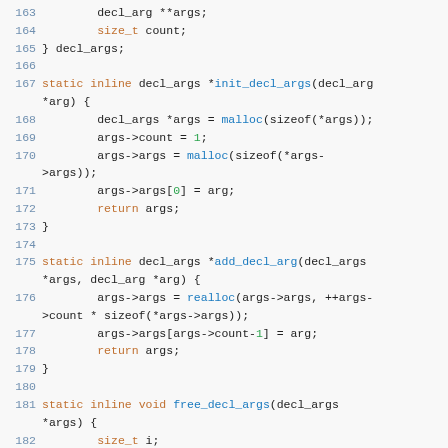Code snippet showing C functions for decl_args management, lines 163-182
163    decl_arg **args;
164    size_t count;
165 } decl_args;
166
167 static inline decl_args *init_decl_args(decl_arg *arg) {
168        decl_args *args = malloc(sizeof(*args));
169        args->count = 1;
170        args->args = malloc(sizeof(*args->args));
171        args->args[0] = arg;
172        return args;
173 }
174
175 static inline decl_args *add_decl_arg(decl_args *args, decl_arg *arg) {
176        args->args = realloc(args->args, ++args->count * sizeof(*args->args));
177        args->args[args->count-1] = arg;
178        return args;
179 }
180
181 static inline void free_decl_args(decl_args *args) {
182    size_t i;